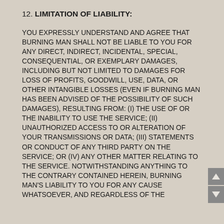12. LIMITATION OF LIABILITY:
YOU EXPRESSLY UNDERSTAND AND AGREE THAT BURNING MAN SHALL NOT BE LIABLE TO YOU FOR ANY DIRECT, INDIRECT, INCIDENTAL, SPECIAL, CONSEQUENTIAL, OR EXEMPLARY DAMAGES, INCLUDING BUT NOT LIMITED TO DAMAGES FOR LOSS OF PROFITS, GOODWILL, USE, DATA, OR OTHER INTANGIBLE LOSSES (EVEN IF BURNING MAN HAS BEEN ADVISED OF THE POSSIBILITY OF SUCH DAMAGES), RESULTING FROM: (i) THE USE OF OR THE INABILITY TO USE THE SERVICE; (ii) UNAUTHORIZED ACCESS TO OR ALTERATION OF YOUR TRANSMISSIONS OR DATA; (iii) STATEMENTS OR CONDUCT OF ANY THIRD PARTY ON THE SERVICE; OR (iv) ANY OTHER MATTER RELATING TO THE SERVICE. NOTWITHSTANDING ANYTHING TO THE CONTRARY CONTAINED HEREIN, BURNING MAN'S LIABILITY TO YOU FOR ANY CAUSE WHATSOEVER, AND REGARDLESS OF THE